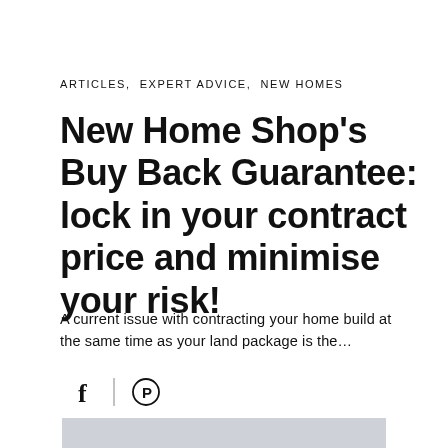ARTICLES,  EXPERT ADVICE,  NEW HOMES
New Home Shop's Buy Back Guarantee: lock in your contract price and minimise your risk!
A current issue with contracting your home build at the same time as your land package is the...
[Figure (other): Social media share icons: Facebook (f) and Pinterest (circle with P symbol), separated by a vertical divider line]
[Figure (other): Light grey horizontal bar at the bottom of the page]